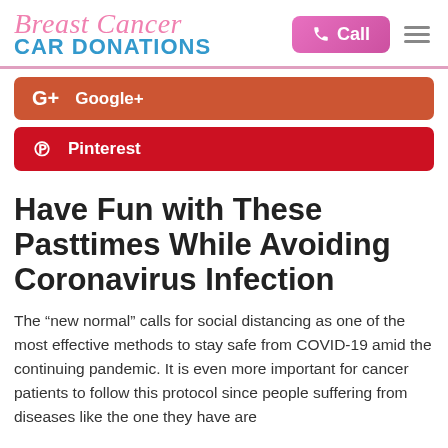Breast Cancer CAR DONATIONS
Google+
Pinterest
Have Fun with These Pasttimes While Avoiding Coronavirus Infection
The “new normal” calls for social distancing as one of the most effective methods to stay safe from COVID-19 amid the continuing pandemic. It is even more important for cancer patients to follow this protocol since people suffering from diseases like the one they have are